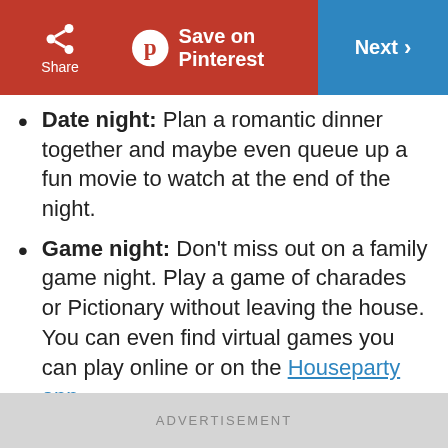Share | Save on Pinterest | Next
Date night: Plan a romantic dinner together and maybe even queue up a fun movie to watch at the end of the night.
Game night: Don't miss out on a family game night. Play a game of charades or Pictionary without leaving the house. You can even find virtual games you can play online or on the Houseparty app.
Holidays and celebrations: Celebrate the birthdays and holidays you anticipate
ADVERTISEMENT